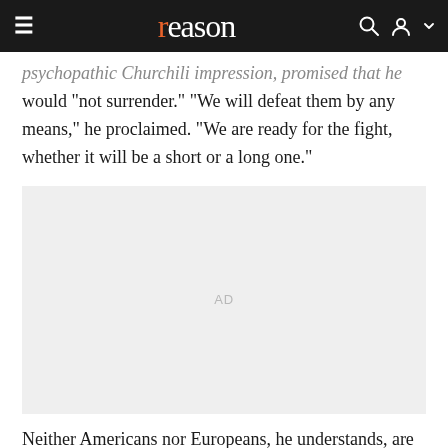reason
psychopathic Churchili impression, promised that he would "not surrender." "We will defeat them by any means," he proclaimed. "We are ready for the fight, whether it will be a short or a long one."
[Figure (other): Advertisement placeholder box with 'AD' label]
Neither Americans nor Europeans, he understands, are ready for the long one.